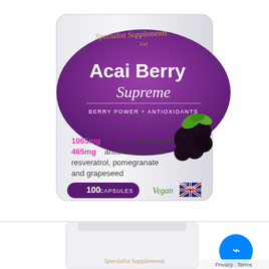[Figure (photo): Product image of Specialist Supplements Ltd Acai Berry Supreme supplement bottle/packet. White packaging with purple oval label reading 'Acai Berry Supreme - Berry Power + Antioxidants'. Text on package: '1065mg acai berry PLUS 465mg antioxidants from resveratrol, pomegranate and grapeseed. 100 CAPSULES'. Shows Vegan logo and British flag 'A British Company' badge. Dark acai berries with green leaves on right side of package.]
[Figure (photo): Bottom portion of a second Specialist Supplements product bottle (white container), partially visible, with the cursive 'Specialist Supplements' text visible at bottom. Blue Messenger chat bubble icon visible in bottom right corner. 'Privacy · Terms' text partially visible.]